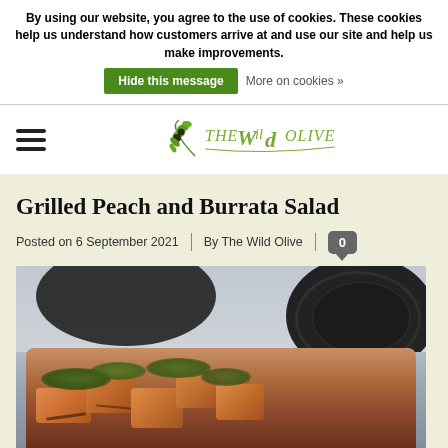By using our website, you agree to the use of cookies. These cookies help us understand how customers arrive at and use our site and help us make improvements.
Hide this message
More on cookies »
[Figure (logo): The Wild Olive logo with olive branch and stylized text]
Grilled Peach and Burrata Salad
Posted on 6 September 2021 | By The Wild Olive | 0
[Figure (photo): Photo of Grilled Peach and Burrata Salad on a plate, with grilled peach pieces topped with herbs, with dark plates visible in the background]